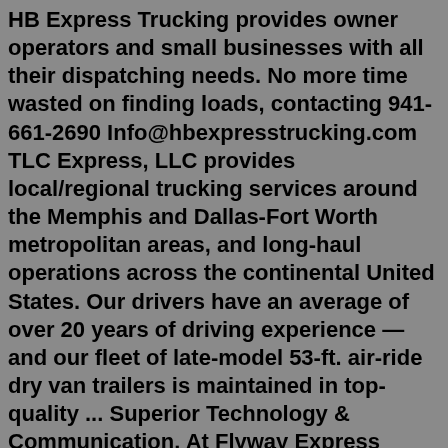HB Express Trucking provides owner operators and small businesses with all their dispatching needs. No more time wasted on finding loads, contacting 941-661-2690 Info@hbexpresstrucking.com TLC Express, LLC provides local/regional trucking services around the Memphis and Dallas-Fort Worth metropolitan areas, and long-haul operations across the continental United States. Our drivers have an average of over 20 years of driving experience — and our fleet of late-model 53-ft. air-ride dry van trailers is maintained in top-quality ... Superior Technology & Communication. At Flyway Express Logistics, we understand the importance of technology; accurate and rapid flow of information is a critical requirement to ensure the smooth and predictable movement of freight. Flyway Express Logistics is able to exchange data in real time with our agents, customers and other partners ... FedEx Logistics helps you formulate the best plan for moving your freight around the globe. Then we help you execute it. By analyzing what you're shipping, where it's going...